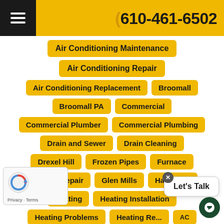610-461-6502
Air Conditioning Maintenance
Air Conditioning Repair
Air Conditioning Replacement
Broomall
Broomall PA
Commercial
Commercial Plumber
Commercial Plumbing
Drain and Sewer
Drain Cleaning
Drexel Hill
Frozen Pipes
Furnace
furnace repair
Glen Mills
Haverford
Heating
Heating Installation
Heating Problems
Heating Re... AC
HVAC Services
IAQ
Indoor Air Quality